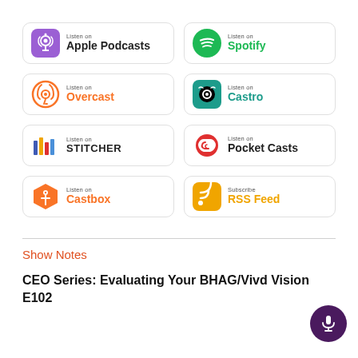[Figure (infographic): Grid of 8 podcast platform badges: Apple Podcasts, Spotify, Overcast, Castro, Stitcher, Pocket Casts, Castbox, RSS Feed]
Show Notes
CEO Series: Evaluating Your BHAG/Vivd Vision E102